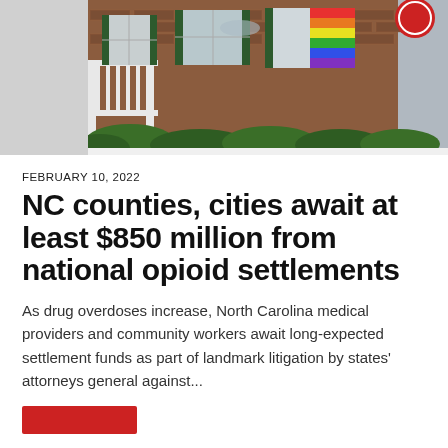[Figure (photo): Exterior photograph of a brick building with white window frames and green shutters, shrubs in front, and a colorful sign visible in the upper right window.]
FEBRUARY 10, 2022
NC counties, cities await at least $850 million from national opioid settlements
As drug overdoses increase, North Carolina medical providers and community workers await long-expected settlement funds as part of landmark litigation by states' attorneys general against...